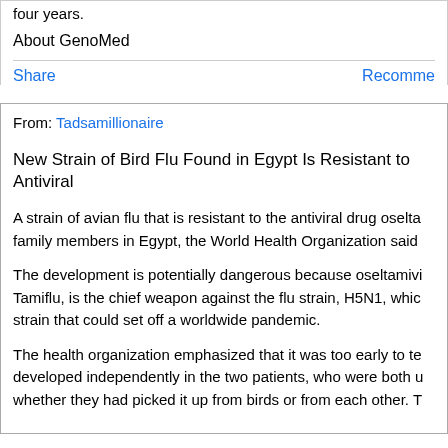four years.
About GenoMed
Share
Recomme
From: Tadsamillionaire
New Strain of Bird Flu Found in Egypt Is Resistant to Antiviral
A strain of avian flu that is resistant to the antiviral drug oselta family members in Egypt, the World Health Organization said
The development is potentially dangerous because oseltamivi Tamiflu, is the chief weapon against the flu strain, H5N1, whic strain that could set off a worldwide pandemic.
The health organization emphasized that it was too early to te developed independently in the two patients, who were both u whether they had picked it up from birds or from each other. T